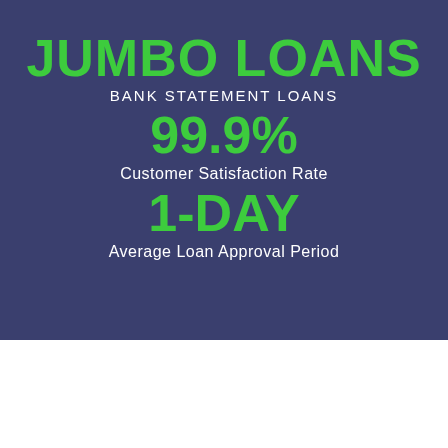JUMBO LOANS
BANK STATEMENT LOANS
99.9%
Customer Satisfaction Rate
1-DAY
Average Loan Approval Period